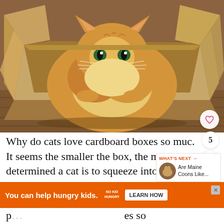[Figure (photo): A fluffy orange/cream long-haired cat sitting inside an open cardboard box on a wooden floor, looking directly at the camera with green eyes]
Why do cats love cardboard boxes so muc. It seems the smaller the box, the m determined a cat is to squeeze into it. Most
WHAT'S NEXT → Are Maine Coons Like...
You can help hungry kids. NOKID HUNGRY LEARN HOW
p es so m if you